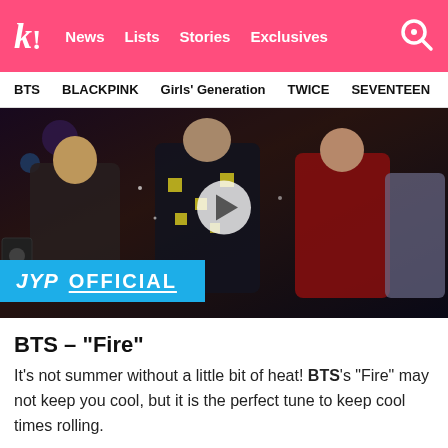k! News  Lists  Stories  Exclusives
BTS  BLACKPINK  Girls' Generation  TWICE  SEVENTEEN
[Figure (screenshot): Video thumbnail of BTS Fire music video from JYP Official YouTube channel. Shows performers dancing in flashy costumes with a JYP OFFICIAL overlay banner at bottom.]
BTS – “Fire”
It's not summer without a little bit of heat! BTS's “Fire” may not keep you cool, but it is the perfect tune to keep cool times rolling.